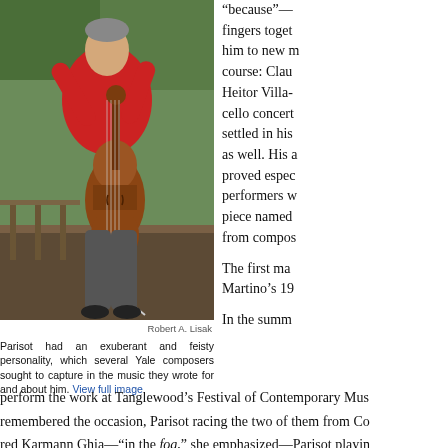[Figure (photo): A man in a red sweater standing on a wooden deck holding a cello with both arms raised, trees in background.]
Robert A. Lisak
Parisot had an exuberant and feisty personality, which several Yale composers sought to capture in the music they wrote for and about him. View full image
“because”—fingers together him to new m course: Clau Heitor Villa- cello concert settled in his as well. His a proved espec performers w piece named from compos
The first ma Martino’s 19
In the summ perform the work at Tanglewood’s Festival of Contemporary Mus remembered the occasion, Parisot racing the two of them from Co red Karmann Ghia—“in the fog,” she emphasized—Parisot playin